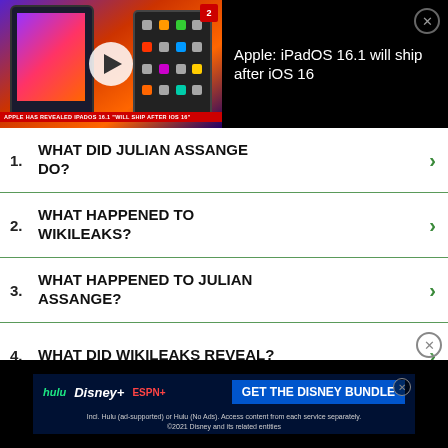[Figure (screenshot): Video thumbnail showing two iPads with colorful app screens, a play button overlay, a news badge, and lower-third ticker reading 'APPLE HAS REVEALED IPADOS 16.1 WILL SHIP AFTER IOS 16'. Next to it on black background: title 'Apple: iPadOS 16.1 will ship after iOS 16' with close button.]
WHAT DID JULIAN ASSANGE DO?
WHAT HAPPENED TO WIKILEAKS?
WHAT HAPPENED TO JULIAN ASSANGE?
WHAT DID WIKILEAKS REVEAL?
WHAT DID ASSANGE DO?
Report an ad
[Figure (screenshot): Disney Bundle advertisement banner showing Hulu, Disney+, ESPN+ logos on dark blue background with 'GET THE DISNEY BUNDLE' CTA button and disclaimer text: 'Incl. Hulu (ad-supported) or Hulu (No Ads). Access content from each service separately. ©2021 Disney and its related entities']